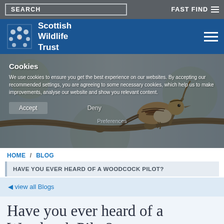SEARCH   FAST FIND
[Figure (logo): Scottish Wildlife Trust logo with white heraldic animal motif and white text on blue background]
[Figure (photo): A small brown and cream bird (brambling or similar finch) perched on a bare branch, photographed against a pale blue-grey background]
Cookies
We use cookies to ensure you get the best experience on our websites. By accepting our recommended settings, you are agreeing to some necessary cookies, which help us to make improvements, analyse our website and show you relevant content.
Accept   Deny
Preferences
HOME / BLOG
HAVE YOU EVER HEARD OF A WOODCOCK PILOT?
◀ view all Blogs
Have you ever heard of a Woodcock Pilot?